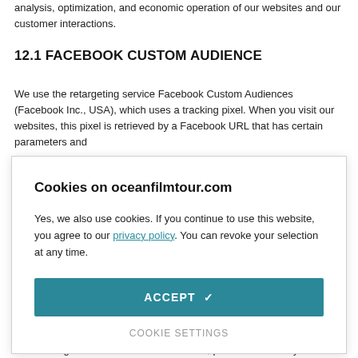analysis, optimization, and economic operation of our websites and our customer interactions.
12.1 FACEBOOK CUSTOM AUDIENCE
We use the retargeting service Facebook Custom Audiences (Facebook Inc., USA), which uses a tracking pixel. When you visit our websites, this pixel is retrieved by a Facebook URL that has certain parameters and
[Figure (screenshot): Cookie consent banner overlay with title 'Cookies on oceanfilmtour.com', body text about cookies and privacy policy link, an ACCEPT button, and a COOKIE SETTINGS link.]
When using Facebook Custom Audiences, personal data may be